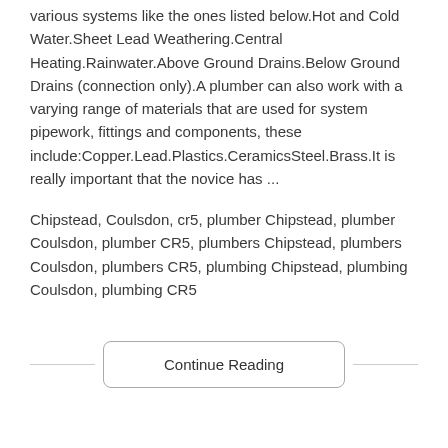various systems like the ones listed below.Hot and Cold Water.Sheet Lead Weathering.Central Heating.Rainwater.Above Ground Drains.Below Ground Drains (connection only).A plumber can also work with a varying range of materials that are used for system pipework, fittings and components, these include:Copper.Lead.Plastics.CeramicsSteel.Brass.It is really important that the novice has ...
Chipstead, Coulsdon, cr5, plumber Chipstead, plumber Coulsdon, plumber CR5, plumbers Chipstead, plumbers Coulsdon, plumbers CR5, plumbing Chipstead, plumbing Coulsdon, plumbing CR5
Continue Reading